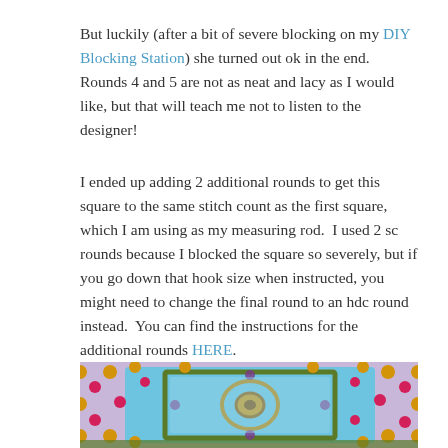But luckily (after a bit of severe blocking on my DIY Blocking Station) she turned out ok in the end.  Rounds 4 and 5 are not as neat and lacy as I would like, but that will teach me not to listen to the designer!
I ended up adding 2 additional rounds to get this square to the same stitch count as the first square, which I am using as my measuring rod.  I used 2 sc rounds because I blocked the square so severely, but if you go down that hook size when instructed, you might need to change the final round to an hdc round instead.  You can find the instructions for the additional rounds HERE.
[Figure (photo): A colorful crocheted granny square with blue, purple, red/pink, gold/yellow, and green yarn, photographed at an angle on a white surface.]